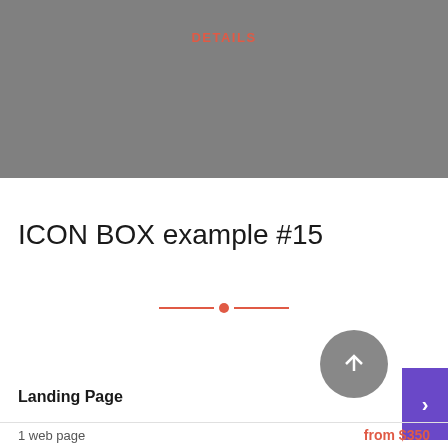[Figure (other): Gray banner/header image area at top of page]
DETAILS
ICON BOX example #15
[Figure (other): Decorative divider: horizontal red lines with a red circle dot in the center]
[Figure (other): Gray circular button with upward arrow icon]
[Figure (other): Purple rectangular next button with right arrow]
Landing Page
1 web page
from $350